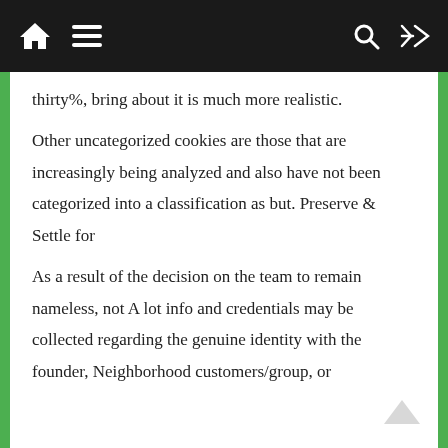Navigation bar with home icon, menu, search, and shuffle icons
thirty%, bring about it is much more realistic.
Other uncategorized cookies are those that are increasingly being analyzed and also have not been categorized into a classification as but. Preserve & Settle for
As a result of the decision on the team to remain nameless, not A lot info and credentials may be collected regarding the genuine identity with the founder, Neighborhood customers/group, or